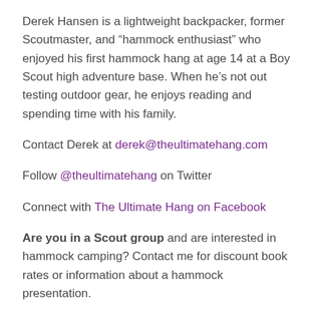Derek Hansen is a lightweight backpacker, former Scoutmaster, and "hammock enthusiast" who enjoyed his first hammock hang at age 14 at a Boy Scout high adventure base. When he’s not out testing outdoor gear, he enjoys reading and spending time with his family.
Contact Derek at derek@theultimatehang.com
Follow @theultimatehang on Twitter
Connect with The Ultimate Hang on Facebook
Are you in a Scout group and are interested in hammock camping? Contact me for discount book rates or information about a hammock presentation.
Are you a Reseller? Sign up with CreateSpace Direct to buy The Ultimate Hang at wholesale prices.